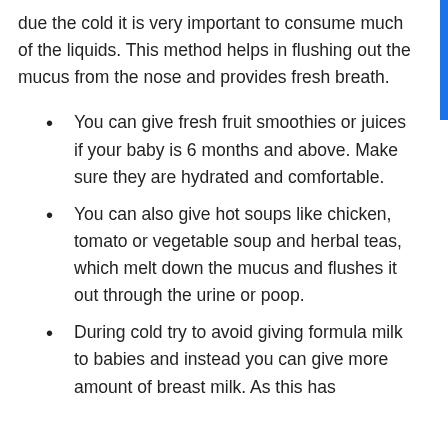due the cold it is very important to consume much of the liquids. This method helps in flushing out the mucus from the nose and provides fresh breath.
You can give fresh fruit smoothies or juices if your baby is 6 months and above. Make sure they are hydrated and comfortable.
You can also give hot soups like chicken, tomato or vegetable soup and herbal teas, which melt down the mucus and flushes it out through the urine or poop.
During cold try to avoid giving formula milk to babies and instead you can give more amount of breast milk. As this has